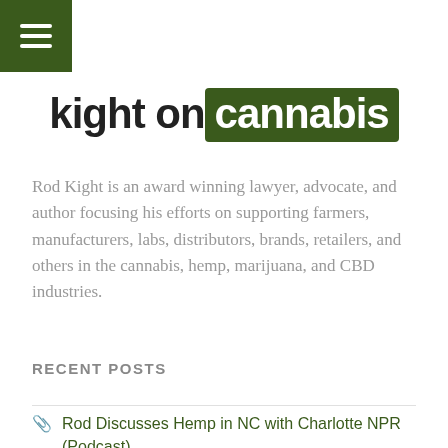[Figure (logo): Hamburger menu button with three white horizontal lines on dark green background]
kight on cannabis
Rod Kight is an award winning lawyer, advocate, and author focusing his efforts on supporting farmers, manufacturers, labs, distributors, brands, retailers, and others in the cannabis, hemp, marijuana, and CBD industries.
RECENT POSTS
Rod Discusses Hemp in NC with Charlotte NPR (Podcast)
August 2, 2022